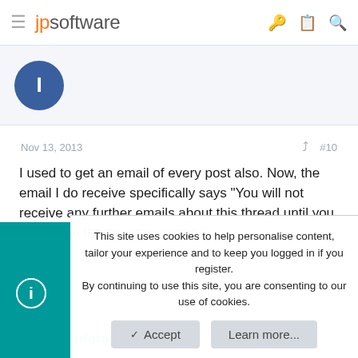jpsoftware
[Figure (illustration): Partial user avatar circle with blue background and white letter]
Nov 13, 2013   #10
I used to get an email of every post also. Now, the email I do receive specifically says "You will not receive any further emails about this thread until you have read the new messages."
[Figure (illustration): User avatar for mfarah showing cartoon face with beard]
mfarah
This site uses cookies to help personalise content, tailor your experience and to keep you logged in if you register.
By continuing to use this site, you are consenting to our use of cookies.
Accept   Learn more...